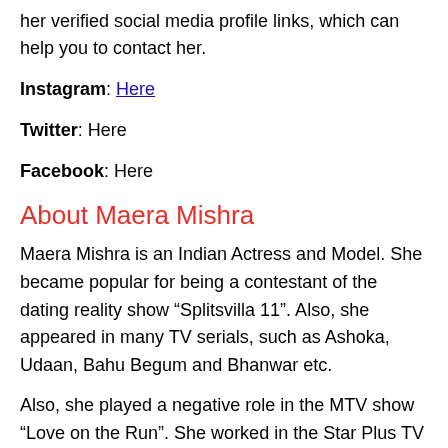her verified social media profile links, which can help you to contact her.
Instagram: Here
Twitter: Here
Facebook: Here
About Maera Mishra
Maera Mishra is an Indian Actress and Model. She became popular for being a contestant of the dating reality show “Splitsvilla 11”. Also, she appeared in many TV serials, such as Ashoka, Udaan, Bahu Begum and Bhanwar etc.
Also, she played a negative role in the MTV show “Love on the Run”. She worked in the Star Plus TV serial “Ishqbaaz”. She featured in few music videos, including Rona Sikhade Ve and SONIYO 2.0.
Maera Mishra was born on 18 April 1990 in Bareilly, Uttar